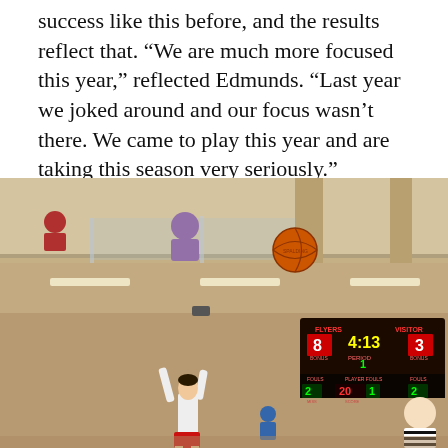success like this before, and the results reflect that. “We are much more focused this year,” reflected Edmunds. “Last year we joked around and our focus wasn’t there. We came to play this year and are taking this season very seriously.”
[Figure (photo): Basketball game photo showing a player shooting the ball in a gymnasium. A scoreboard in the background shows FLYERS 8, VISITOR 3, time 4:13, PERIOD 1, PLAYER 20 FOULS 1, FOULS 2 and 2. A basketball is airborne near the top of the image. Spectators visible on an upper walkway.]